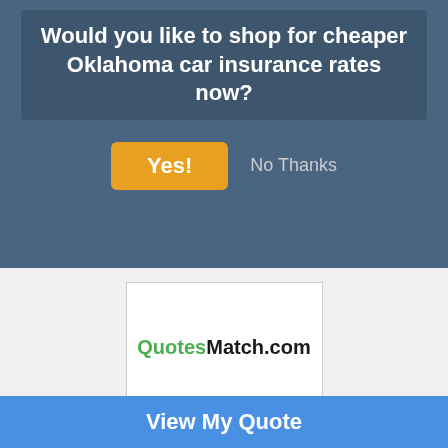Would you like to shop for cheaper Oklahoma car insurance rates now?
Yes!
No Thanks
[Figure (logo): QuotesMatch.com logo with Quotes in green and Match.com in black bold text on white background]
Quotes in Loudoun Start at $49/mth*
www.QuotesMatch.com
View My Quote